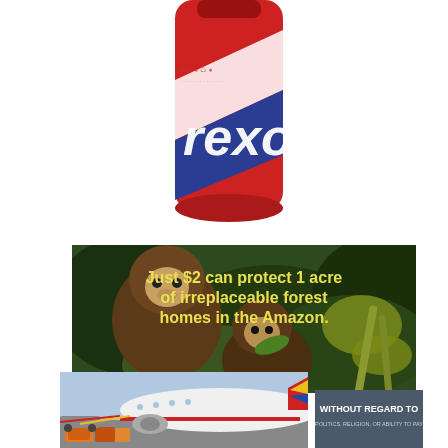[Figure (photo): A red Pepsi soda bottle with white and blue label design, partially cropped, showing 'rexo' text on label]
[Figure (photo): Two brown capuchin monkeys in Amazon forest greenery with overlaid yellow text reading 'Just $2 can protect 1 acre of irreplaceable forest homes in the Amazon.']
[Figure (photo): Airport tarmac scene with cargo being loaded onto a colorful airliner with red, yellow, and blue stripes]
[Figure (photo): Dark blue-grey box with white text reading 'WITHOUT REGARD TO' and smaller text below 'POLITICS, RELIGION, OR ABILITY TO PAY']